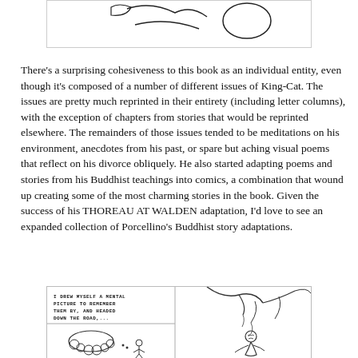[Figure (illustration): Top portion of a comic illustration, partially visible at top of page]
There's a surprising cohesiveness to this book as an individual entity, even though it's composed of a number of different issues of King-Cat. The issues are pretty much reprinted in their entirety (including letter columns), with the exception of chapters from stories that would be reprinted elsewhere. The remainders of those issues tended to be meditations on his environment, anecdotes from his past, or spare but aching visual poems that reflect on his divorce obliquely. He also started adapting poems and stories from his Buddhist teachings into comics, a combination that wound up creating some of the most charming stories in the book. Given the success of his THOREAU AT WALDEN adaptation, I'd love to see an expanded collection of Porcellino's Buddhist story adaptations.
[Figure (illustration): Comic strip panels showing: left panel top has handwritten text 'I DREW MYSELF A MENTAL PICTURE TO REMEMBER THEM BY, AND HEADED DOWN THE ROAD...', bottom left shows a cloud thought bubble with a small figure, right panel shows a person sitting under tree branches]